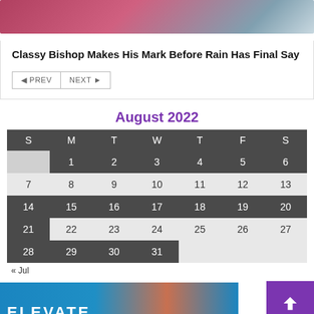[Figure (photo): Partial photo of a sports scene at top of card]
Classy Bishop Makes His Mark Before Rain Has Final Say
◄ PREV  NEXT ►
August 2022
| S | M | T | W | T | F | S |
| --- | --- | --- | --- | --- | --- | --- |
|  | 1 | 2 | 3 | 4 | 5 | 6 |
| 7 | 8 | 9 | 10 | 11 | 12 | 13 |
| 14 | 15 | 16 | 17 | 18 | 19 | 20 |
| 21 | 22 | 23 | 24 | 25 | 26 | 27 |
| 28 | 29 | 30 | 31 |  |  |  |
« Jul
[Figure (photo): Bottom portion showing blue promotional image with ELEVATE text and purple scroll-to-top button]